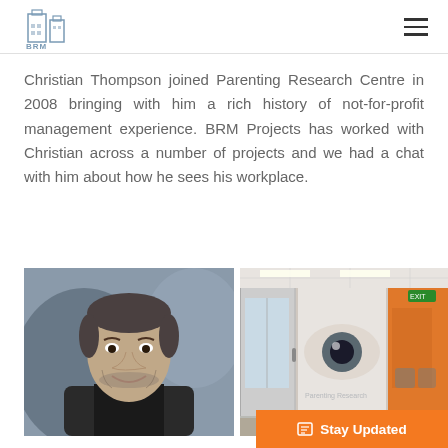BRM logo and navigation menu
Christian Thompson joined Parenting Research Centre in 2008 bringing with him a rich history of not-for-profit management experience. BRM Projects has worked with Christian across a number of projects and we had a chat with him about how he sees his workplace.
[Figure (photo): Professional headshot of Christian Thompson, a middle-aged man in a dark suit, smiling slightly, photographed against a blurred background.]
[Figure (photo): Interior photograph of an office hallway with glass walls, orange accent wall, and a large graphic mural featuring a close-up eye image.]